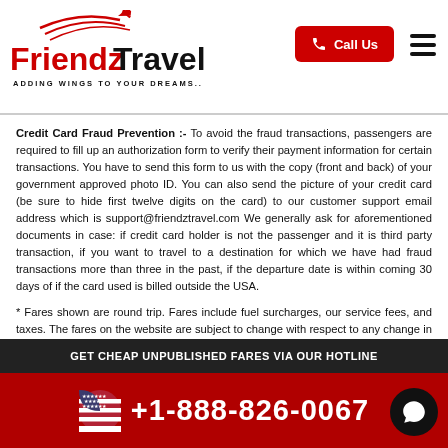[Figure (logo): Friendz Travel logo with airplane silhouette and tagline ADDING WINGS TO YOUR DREAMS.. in red and black]
Credit Card Fraud Prevention :- To avoid the fraud transactions, passengers are required to fill up an authorization form to verify their payment information for certain transactions. You have to send this form to us with the copy (front and back) of your government approved photo ID. You can also send the picture of your credit card (be sure to hide first twelve digits on the card) to our customer support email address which is support@friendztravel.com We generally ask for aforementioned documents in case: if credit card holder is not the passenger and it is third party transaction, if you want to travel to a destination for which we have had fraud transactions more than three in the past, if the departure date is within coming 30 days of if the card used is billed outside the USA.
* Fares shown are round trip. Fares include fuel surcharges, our service fees, and taxes. The fares on the website are subject to change with respect to any change in the itinerary or guidelines of the airlines without any notice. Please read Our Cancellation, Refund Policy & all booking terms and conditions
** The shown discount(if any) is valid for only International Travel. Book by 30 Sep
GET CHEAP UNPUBLISHED FARES VIA OUR HOTLINE
+1-888-826-0067